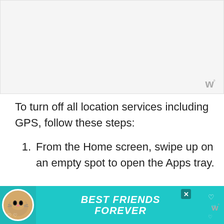[Figure (screenshot): Gray placeholder image area at the top of the page]
To turn off all location services including GPS, follow these steps:
From the Home screen, swipe up on an empty spot to open the Apps tray.
[Figure (photo): Advertisement banner at the bottom: teal background with cat image and text BEST FRIENDS FOREVER with hearts]